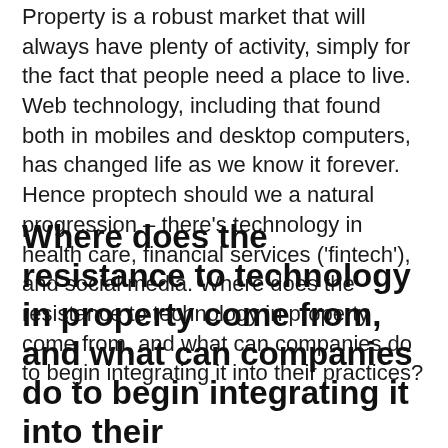Property is a robust market that will always have plenty of activity, simply for the fact that people need a place to live. Web technology, including that found both in mobiles and desktop computers, has changed life as we know it forever. Hence proptech should we a natural progression – there's technology in health care, financial services ('fintech'), and social media. Where does the resistance to technology in property come from, and what can companies do to begin integrating it into their practices?
Where does the resistance to technology in property come from, and what can companies do to begin integrating it into their